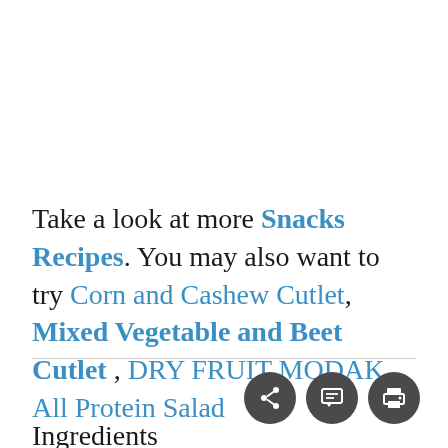Take a look at more Snacks Recipes. You may also want to try Corn and Cashew Cutlet, Mixed Vegetable and Beet Cutlet , DRY FRUIT MODAK , All Protein Salad
[Figure (other): Three circular icon buttons: share, comment/chat, and print]
Ingredients